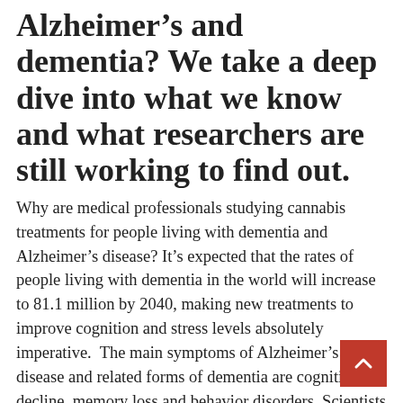Alzheimer's and dementia? We take a deep dive into what we know and what researchers are still working to find out.
Why are medical professionals studying cannabis treatments for people living with dementia and Alzheimer's disease? It's expected that the rates of people living with dementia in the world will increase to 81.1 million by 2040, making new treatments to improve cognition and stress levels absolutely imperative.  The main symptoms of Alzheimer's disease and related forms of dementia are cognitive decline, memory loss and behavior disorders. Scientists hope that the neuroprotective properties of marijuana will help living with dementia and Alzheimer's will actually